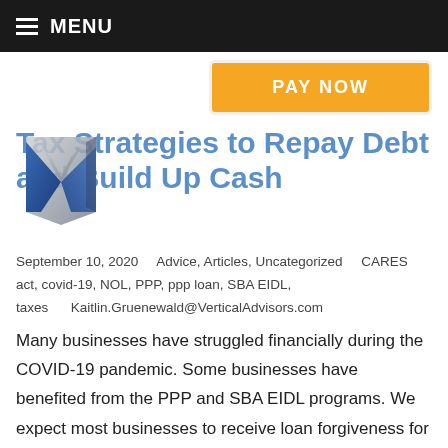MENU
[Figure (illustration): Orange button labeled PAY NOW]
Tax Strategies to Repay Debt and Build Up Cash
[Figure (logo): Vertical Advisors logo — metallic blue and silver V-shape arrow mark]
September 10, 2020    Advice, Articles, Uncategorized    CARES act, covid-19, NOL, PPP, ppp loan, SBA EIDL, taxes    Kaitlin.Gruenewald@VerticalAdvisors.com
Many businesses have struggled financially during the COVID-19 pandemic. Some businesses have benefited from the PPP and SBA EIDL programs. We expect most businesses to receive loan forgiveness for their PPP loan, but if you received an EIDL loan, you might be concerned on how you are going to pay it back. Generally, if a business had to receive a loan during 2020, it means they